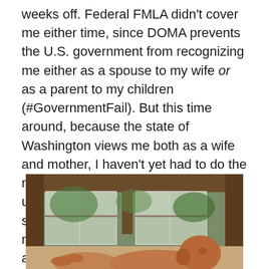weeks off. Federal FMLA didn't cover me either time, since DOMA prevents the U.S. government from recognizing me either as a spouse to my wife or as a parent to my children (#GovernmentFail). But this time around, because the state of Washington views me both as a wife and mother, I haven't yet had to do the night shift with the twins and then get up and stumble blearily off to work to stand at the copy machine doing the newborn dance—bouncing slightly and swaying from side to side—with nary a baby in sight. Whew. Far better to be sleep-deprived and underperforming at home than in a professional setting, I always say.
[Figure (photo): Photo of a baby being held, taken indoors with wooden surroundings and glass-paned doors visible in the background, with greenery outside.]